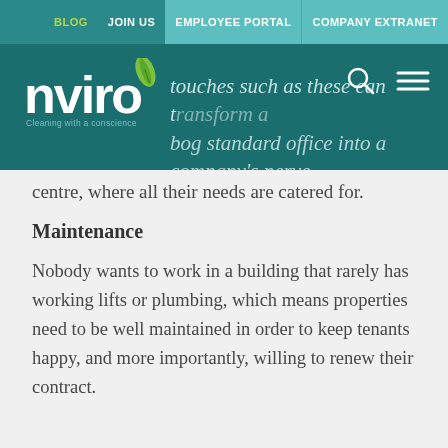BLOG  JOIN US  EMPLOYEE PORTAL  COMPANY EXTRANET
[Figure (logo): Nviro logo with green leaf icon and tagline 'Cleaning with a conscience' on teal background]
touches such as these can transform a bog standard office into a company's nerve centre, where all their needs are catered for.
Maintenance
Nobody wants to work in a building that rarely has working lifts or plumbing, which means properties need to be well maintained in order to keep tenants happy, and more importantly, willing to renew their contract.